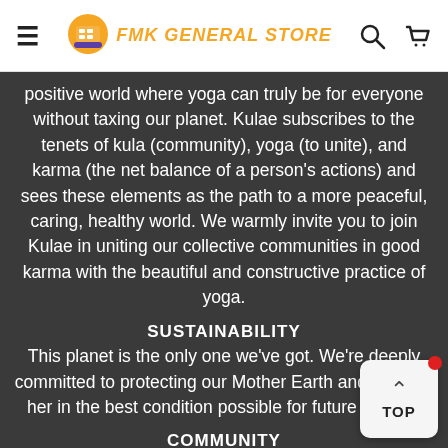FMK GENERAL STORE
positive world where yoga can truly be for everyone without taxing our planet. Kulae subscribes to the tenets of kula (community), yoga (to unite), and karma (the net balance of a person's actions) and sees these elements as the path to a more peaceful, caring, healthy world. We warmly invite you to join Kulae in uniting our collective communities in good karma with the beautiful and constructive practice of yoga.
SUSTAINABILITY
This planet is the only one we've got. We're deeply committed to protecting our Mother Earth and keeping her in the best condition possible for future generat…
COMMUNITY
We are all bettered by the betterment of each individual